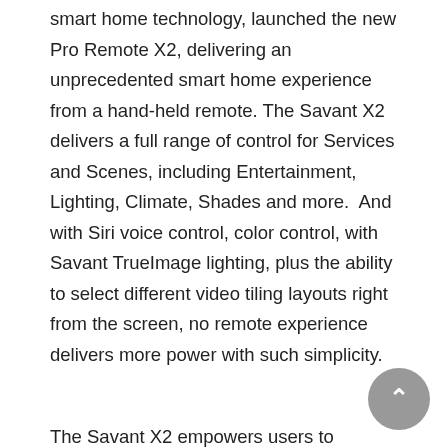smart home technology, launched the new Pro Remote X2, delivering an unprecedented smart home experience from a hand-held remote. The Savant X2 delivers a full range of control for Services and Scenes, including Entertainment, Lighting, Climate, Shades and more.  And with Siri voice control, color control, with Savant TrueImage lighting, plus the ability to select different video tiling layouts right from the screen, no remote experience delivers more power with such simplicity.
The Savant X2 empowers users to effortlessly personalize the smart remote experience, including adding and organizing icons for control of Favorite Services, Favorite Channels and Savant Scenes. The X2 remote can be tailored for the functionality to the room or to the individual user.